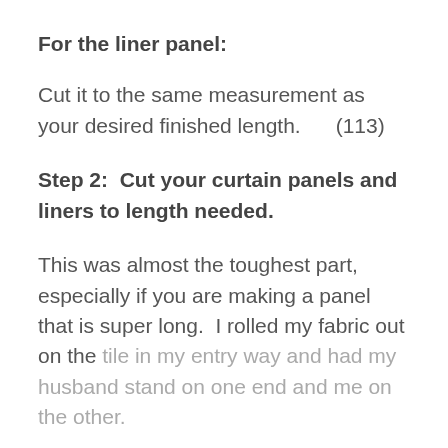For the liner panel:
Cut it to the same measurement as your desired finished length.      (113)
Step 2:  Cut your curtain panels and liners to length needed.
This was almost the toughest part, especially if you are making a panel that is super long.  I rolled my fabric out on the tile in my entry way and had my husband stand on one end and me on the other.